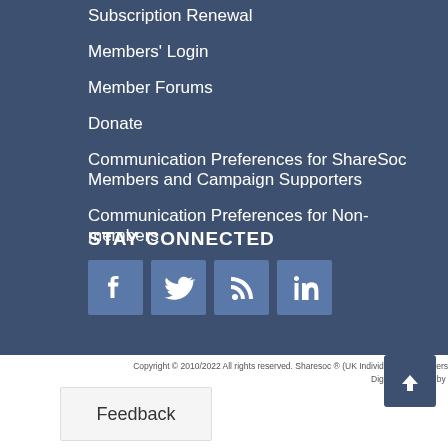Subscription Renewal
Members' Login
Member Forums
Donate
Communication Preferences for ShareSoc Members and Campaign Supporters
Communication Preferences for Non-members
STAY CONNECTED
[Figure (infographic): Social media icons: Facebook, Twitter, RSS, LinkedIn]
Copyright © 2010/2022 All rights reserved. Sharesoc ® (UK Individual Shareholders Society). Terms of use and legal information (note this site uses cookies)
Digital Marketing by Chillibyte.
Feedback